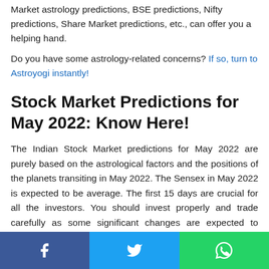Market astrology predictions, BSE predictions, Nifty predictions, Share Market predictions, etc., can offer you a helping hand.
Do you have some astrology-related concerns? If so, turn to Astroyogi instantly!
Stock Market Predictions for May 2022: Know Here!
The Indian Stock Market predictions for May 2022 are purely based on the astrological factors and the positions of the planets transiting in May 2022. The Sensex in May 2022 is expected to be average. The first 15 days are crucial for all the investors. You should invest properly and trade carefully as some significant changes are expected to happen in the 15
Facebook | Twitter | WhatsApp